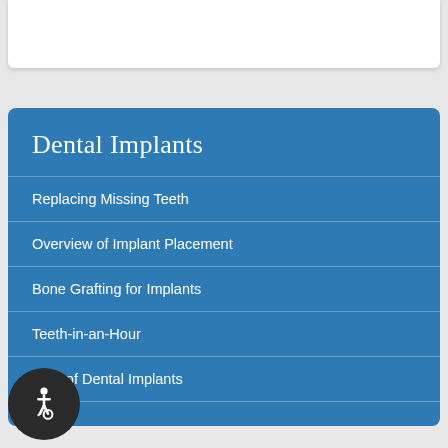Dental Implants
Replacing Missing Teeth
Overview of Implant Placement
Bone Grafting for Implants
Teeth-in-an-Hour
Cost of Dental Implants
[Figure (illustration): Accessibility wheelchair icon in dark circular button at bottom left]